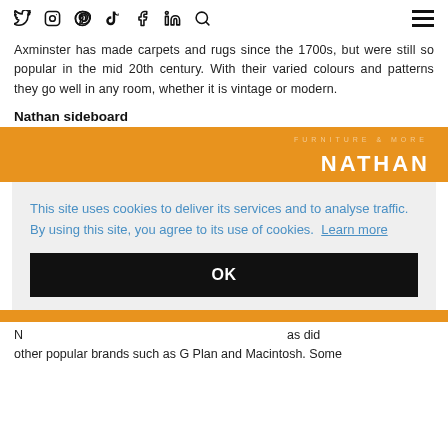Social media icons: Twitter, Instagram, Pinterest, TikTok, Facebook, LinkedIn, Search; Hamburger menu
Axminster has made carpets and rugs since the 1700s, but were still so popular in the mid 20th century. With their varied colours and patterns they go well in any room, whether it is vintage or modern.
Nathan sideboard
[Figure (screenshot): Orange promotional banner for NATHAN brand with watermark text above the brand name]
[Figure (screenshot): Cookie consent overlay on light grey background with blue text reading: This site uses cookies to deliver its services and to analyse traffic. By using this site, you agree to its use of cookies. Learn more. Below is a black OK button.]
N ... as did other popular brands such as G Plan and Macintosh. Some